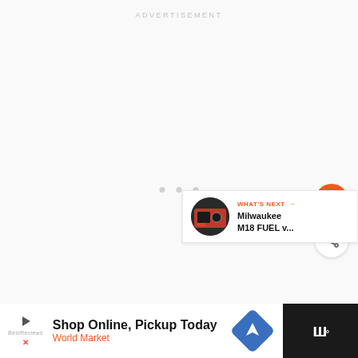ADVERTISEMENT
[Figure (screenshot): Large empty/loading content area with light gray background, three gray dots centered in the middle indicating a loading or carousel state]
[Figure (other): Orange circular heart/favorite button on the right side]
[Figure (other): White circular share button with share icon on the right side]
WHAT'S NEXT → Milwaukee M18 FUEL v...
Shop Online, Pickup Today World Market